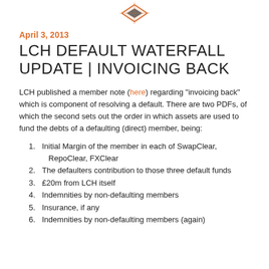[Figure (logo): Diamond-shaped logo with geometric pattern in orange and dark colors]
April 3, 2013
LCH DEFAULT WATERFALL UPDATE | INVOICING BACK
LCH published a member note (here) regarding "invoicing back" which is component of resolving a default. There are two PDFs, of which the second sets out the order in which assets are used to fund the debts of a defaulting (direct) member, being:
Initial Margin of the member in each of SwapClear, RepoClear, FXClear
The defaulters contribution to those three default funds
£20m from LCH itself
Indemnities by non-defaulting members
Insurance, if any
Indemnities by non-defaulting members (again)